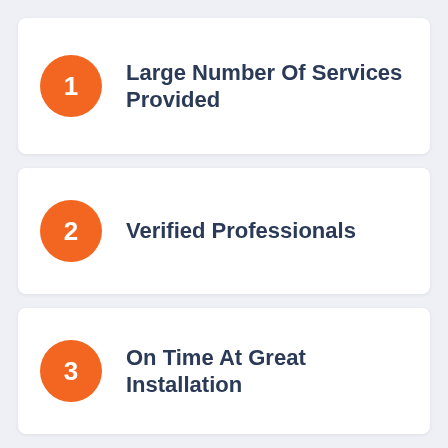1 Large Number Of Services Provided
2 Verified Professionals
3 On Time At Great Installation